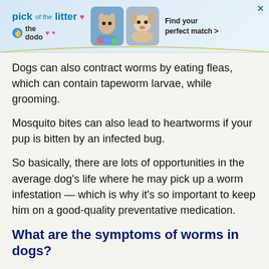[Figure (screenshot): Advertisement banner for 'The Dodo' pet adoption service - pick of the litter, find your perfect match]
Dogs can also contract worms by eating fleas, which can contain tapeworm larvae, while grooming.
Mosquito bites can also lead to heartworms if your pup is bitten by an infected bug.
So basically, there are lots of opportunities in the average dog's life where he may pick up a worm infestation — which is why it's so important to keep him on a good-quality preventative medication.
What are the symptoms of worms in dogs?
So once your dog actually gets worms, what will